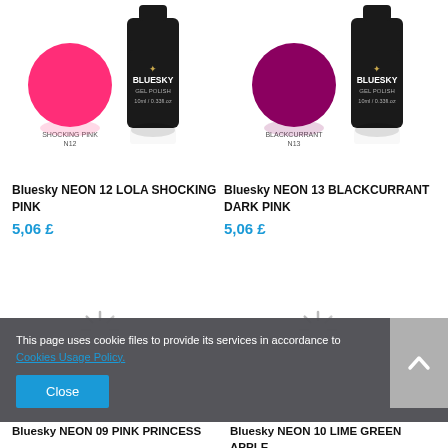[Figure (photo): Bluesky NEON 12 gel polish bottle and color swatch (shocking pink)]
Bluesky NEON 12 LOLA SHOCKING PINK
5,06 £
[Figure (photo): Bluesky NEON 13 gel polish bottle and color swatch (blackcurrant dark pink)]
Bluesky NEON 13 BLACKCURRANT DARK PINK
5,06 £
[Figure (photo): Loading spinner for product image (bottom left)]
[Figure (photo): Loading spinner for product image (bottom right)]
This page uses cookie files to provide its services in accordance to Cookies Usage Policy.
Close
Bluesky NEON 09 PINK PRINCESS
Bluesky NEON 10 LIME GREEN APPLE